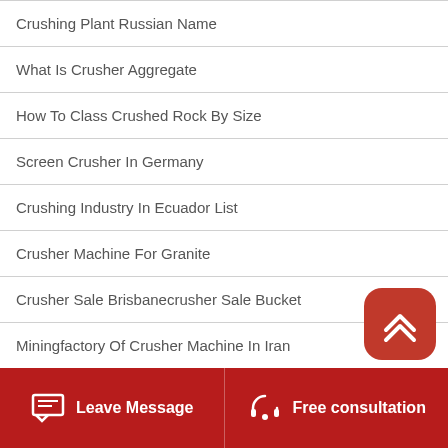Crushing Plant Russian Name
What Is Crusher Aggregate
How To Class Crushed Rock By Size
Screen Crusher In Germany
Crushing Industry In Ecuador List
Crusher Machine For Granite
Crusher Sale Brisbanecrusher Sale Bucket
Miningfactory Of Crusher Machine In Iran
Leave Message  Free consultation